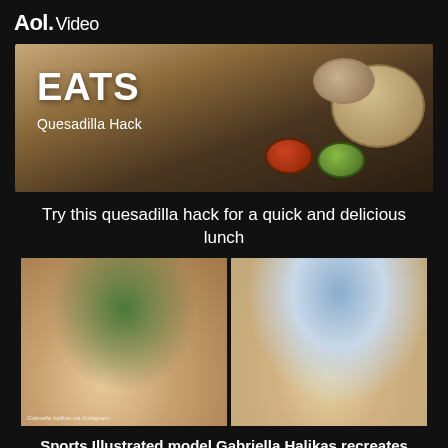Aol. Video
[Figure (screenshot): Video thumbnail showing food ingredients in bowls on a wooden surface with text 'EATS Quesadilla Hack']
Try this quesadilla hack for a quick and delicious lunch
[Figure (photo): Two side-by-side photos of women in swimwear, left photo shows Sports Illustrated model Gabriella Halikas, right photo shows a blonde model in a pool setting recreating a SKIMS swim photoshoot. Caption credit: Gabriella halikas via Instagram]
Sports Illustrated model Gabriella Halikas recreates 'iconic' SKIMS swim photoshoot